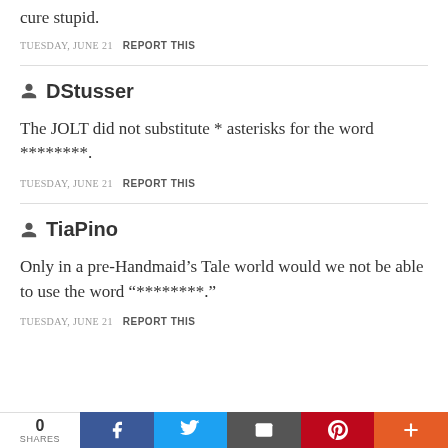cure stupid.
TUESDAY, JUNE 21   REPORT THIS
DStusser
The JOLT did not substitute * asterisks for the word ********.
TUESDAY, JUNE 21   REPORT THIS
TiaPino
Only in a pre-Handmaid’s Tale world would we not be able to use the word “********.”
TUESDAY, JUNE 21   REPORT THIS
0 SHARES